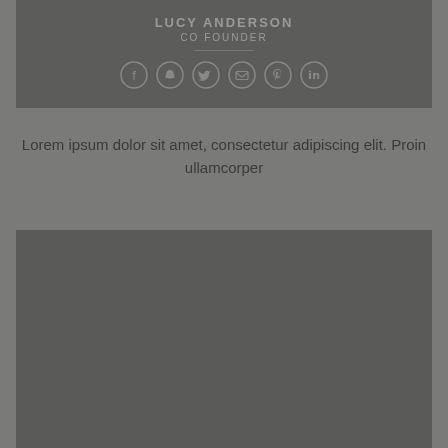LUCY ANDERSON
CO FOUNDER
[Figure (infographic): Six circular social media icon buttons in a row: Facebook, Snapchat, Twitter, Email, Pinterest, LinkedIn]
Lorem ipsum dolor sit amet, consectetur adipiscing elit. Proin ullamcorper
[Figure (photo): Dark grey rectangular placeholder image block at the bottom of the page]